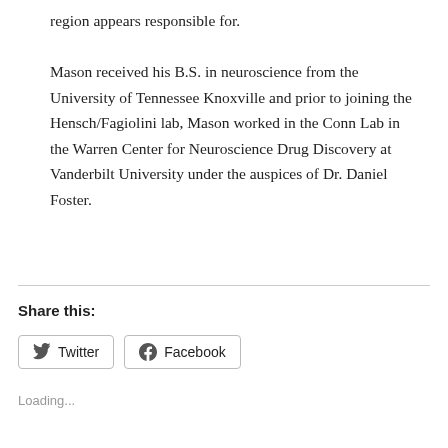region appears responsible for.
Mason received his B.S. in neuroscience from the University of Tennessee Knoxville and prior to joining the Hensch/Fagiolini lab, Mason worked in the Conn Lab in the Warren Center for Neuroscience Drug Discovery at Vanderbilt University under the auspices of Dr. Daniel Foster.
Share this:
Twitter  Facebook
Loading...